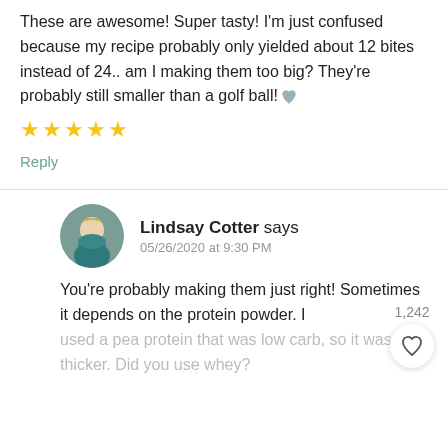These are awesome! Super tasty! I'm just confused because my recipe probably only yielded about 12 bites instead of 24.. am I making them too big? They're probably still smaller than a golf ball! 🩶
★★★★★
Reply
Lindsay Cotter says
05/26/2020 at 9:30 PM
You're probably making them just right! Sometimes it depends on the protein powder. I used a pea protein that was low carb, so it was thicker. Did you use whey?